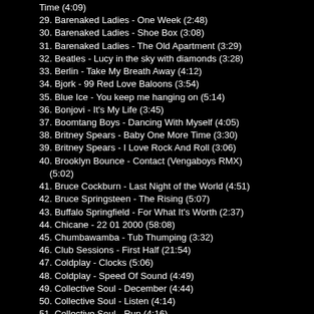Time (4:09)
29. Barenaked Ladies - One Week (2:48)
30. Barenaked Ladies - Shoe Box (3:08)
31. Barenaked Ladies - The Old Apartment (3:29)
32. Beatles - Lucy in the sky with diamonds (3:28)
33. Berlin - Take My Breath Away (4:12)
34. Bjork - 99 Red Love Baloons (3:54)
35. Blue Ice - You keep me hanging on (5:14)
36. Bonjovi - It's My Life (3:45)
37. Boomtang Boys - Dancing With Myself (4:05)
38. Britney Spears - Baby One More Time (3:30)
39. Britney Spears - I Love Rock And Roll (3:06)
40. Brooklyn Bounce - Contact (Vengaboys RMX) (5:02)
41. Bruce Cockburn - Last Night of the World (4:51)
42. Bruce Springsteen - The Rising (5:07)
43. Buffalo Springfield - For What It's Worth (2:37)
44. Chicane - 22 01 2000 (58:08)
45. Chumbawamba - Tub Thumping (3:32)
46. Club Sessions - First Half (21:54)
47. Coldplay - Clocks (5:06)
48. Coldplay - Speed Of Sound (4:49)
49. Collective Soul - December (4:44)
50. Collective Soul - Listen (4:14)
51. Collective Soul - Run (4:16)
52. Collective Soul - Why Part 2 (3:37)
53. Counting Crows - American girls (4:32)
54. Counting Crows - Daylight Fading (3:50)
55. Counting Crows - Mr Jones (4:28)
56. Cranberries - Animal Instinct (3:31)